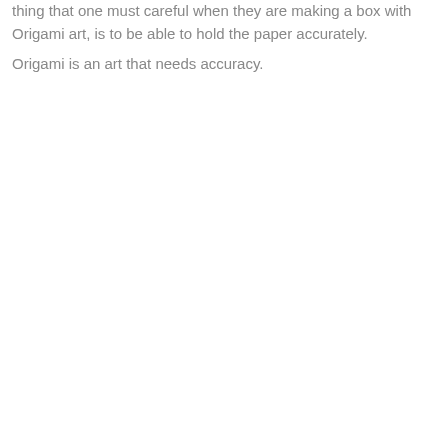thing that one must careful when they are making a box with Origami art, is to be able to hold the paper accurately.
Origami is an art that needs accuracy.